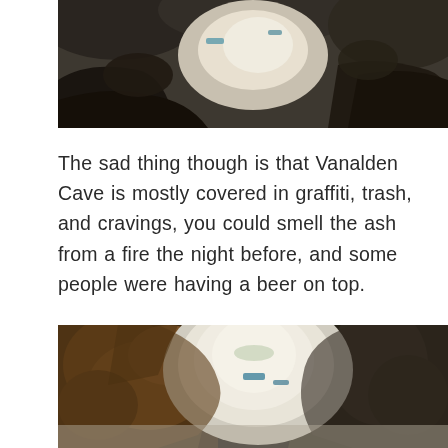[Figure (photo): Interior cave photo showing rocky ceiling with light coming through an opening, with blue-green graffiti marks visible on the rock surface]
The sad thing though is that Vanalden Cave is mostly covered in graffiti, trash, and cravings, you could smell the ash from a fire the night before, and some people were having a beer on top.
[Figure (photo): Interior cave photo looking outward through a large rocky arch opening toward bright daylight, with brown rocky walls and ceiling visible inside the cave]